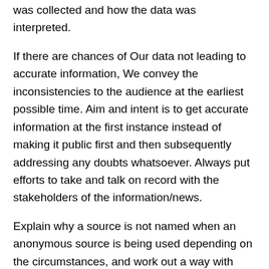was collected and how the data was interpreted.
If there are chances of Our data not leading to accurate information, We convey the inconsistencies to the audience at the earliest possible time. Aim and intent is to get accurate information at the first instance instead of making it public first and then subsequently addressing any doubts whatsoever. Always put efforts to take and talk on record with the stakeholders of the information/news.
Explain why a source is not named when an anonymous source is being used depending on the circumstances, and work out a way with such sources to provide the readers with as much information as possible about them so that readers can assess the sources' reliability. Share information about sources with Our editors to enable them (editors as well reporters) to assess whether the concerned piece of information is appropriate [redacted] use and the mann[redacted]ay be